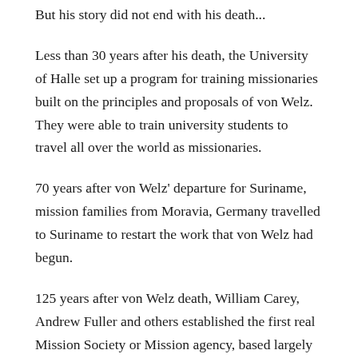But his story did not end with his death...
Less than 30 years after his death, the University of Halle set up a program for training missionaries built on the principles and proposals of von Welz. They were able to train university students to travel all over the world as missionaries.
70 years after von Welz' departure for Suriname, mission families from Moravia, Germany travelled to Suriname to restart the work that von Welz had begun.
125 years after von Welz death, William Carey, Andrew Fuller and others established the first real Mission Society or Mission agency, based largely on the principles that von Welz had described over a century